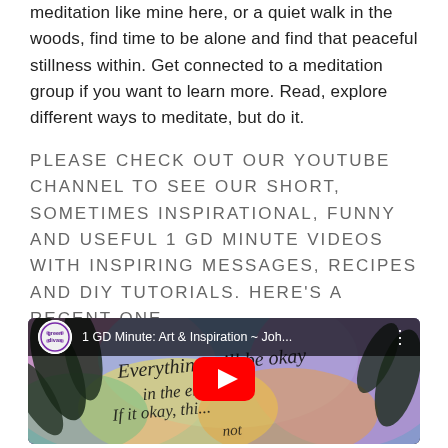meditation like mine here, or a quiet walk in the woods, find time to be alone and find that peaceful stillness within. Get connected to a meditation group if you want to learn more. Read, explore different ways to meditate, but do it.
PLEASE CHECK OUT OUR YOUTUBE CHANNEL TO SEE OUR SHORT, SOMETIMES INSPIRATIONAL, FUNNY AND USEFUL 1 GD MINUTE VIDEOS WITH INSPIRING MESSAGES, RECIPES AND DIY TUTORIALS. HERE'S A RECENT ONE...
[Figure (screenshot): YouTube video embed showing '1 GD Minute: Art & Inspiration ~ Joh...' from Green Divas channel. The video thumbnail shows colorful watercolor background with cursive calligraphy text reading 'Everything will be okay in the end. If it okay, thi... not' with a YouTube play button overlay.]